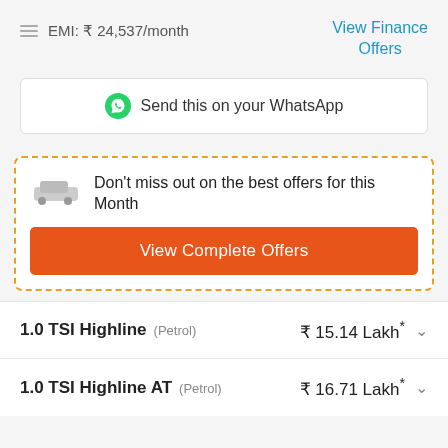EMI: ₹ 24,537/month
View Finance Offers
Send this on your WhatsApp
Don't miss out on the best offers for this Month
View Complete Offers
1.0 TSI Highline (Petrol) ₹ 15.14 Lakh*
1.0 TSI Highline AT (Petrol) ₹ 16.71 Lakh*